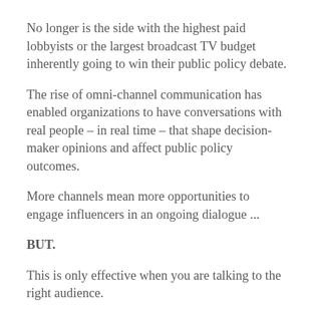No longer is the side with the highest paid lobbyists or the largest broadcast TV budget inherently going to win their public policy debate.
The rise of omni-channel communication has enabled organizations to have conversations with real people – in real time – that shape decision-maker opinions and affect public policy outcomes.
More channels mean more opportunities to engage influencers in an ongoing dialogue ...
BUT.
This is only effective when you are talking to the right audience.
Whether looking to increase overall awareness of your public policy fight, persuade key decision-makers, or activate like-minded allies to voice their support, our data resources enable us to create custom audiences for your grassroots advocacy efforts.